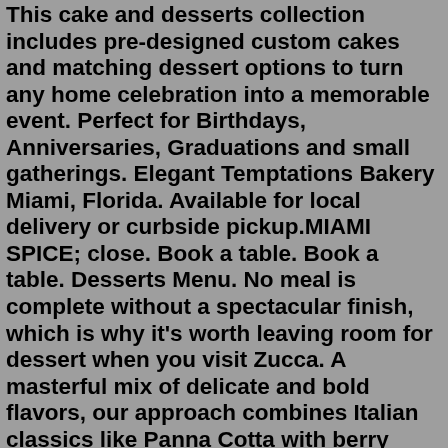This cake and desserts collection includes pre-designed custom cakes and matching dessert options to turn any home celebration into a memorable event. Perfect for Birthdays, Anniversaries, Graduations and small gatherings. Elegant Temptations Bakery Miami, Florida. Available for local delivery or curbside pickup.MIAMI SPICE; close. Book a table. Book a table. Desserts Menu. No meal is complete without a spectacular finish, which is why it's worth leaving room for dessert when you visit Zucca. A masterful mix of delicate and bold flavors, our approach combines Italian classics like Panna Cotta with berry coulis, tiramisu with a candied nut topping ...We are conveniently located in Miami just off the Florida Turnpike and Okeechobee road within minutes from anywhere in the South Florida area. We can deliver Cakes and Dessert Tables from West Palm Beach to the Florida Keys. Give us a call to set up your design consultation and tasting. Sweet Indulgence Buffet (150 guests) / $1,500 • Candy Buffet features 15 different candies (15-18 containers) and